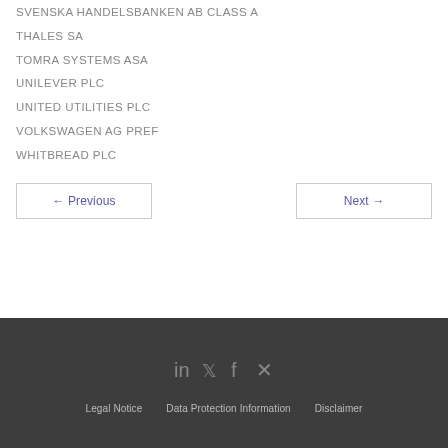SVENSKA HANDELSBANKEN AB CLASS A
THALES SA
TOMRA SYSTEMS ASA
UNILEVER PLC
UNITED UTILITIES PLC
VOLKSWAGEN AG PREF
WHITBREAD PLC
← Previous
Next →
Legal Notice   Data Protection Information   Disclaimer